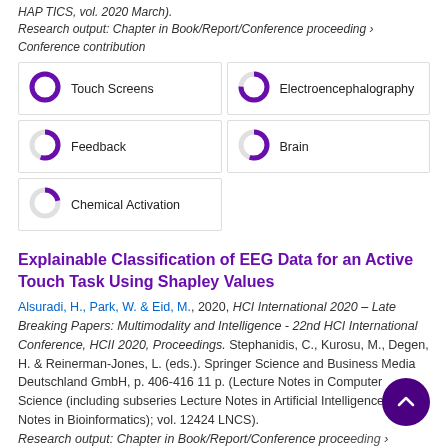HAP TICS, vol. 2020 March).
Research output: Chapter in Book/Report/Conference proceeding › Conference contribution
[Figure (infographic): Five keyword badges with donut/arc indicators showing percentage coverage: Touch Screens ~100%, Electroencephalography ~75%, Feedback ~55%, Brain ~55%, Chemical Activation ~22%]
Explainable Classification of EEG Data for an Active Touch Task Using Shapley Values
Alsuradi, H., Park, W. & Eid, M., 2020, HCI International 2020 – Late Breaking Papers: Multimodality and Intelligence - 22nd HCI International Conference, HCII 2020, Proceedings. Stephanidis, C., Kurosu, M., Degen, H. & Reinerman-Jones, L. (eds.). Springer Science and Business Media Deutschland GmbH, p. 406-416 11 p. (Lecture Notes in Computer Science (including subseries Lecture Notes in Artificial Intelligence Lecture Notes in Bioinformatics); vol. 12424 LNCS).
Research output: Chapter in Book/Report/Conference proceeding › Conference contribution